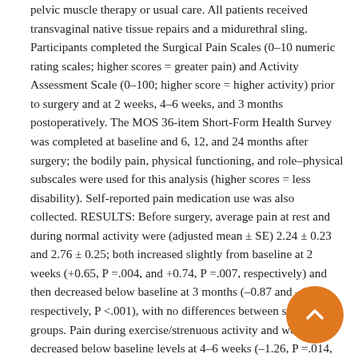pelvic muscle therapy or usual care. All patients received transvaginal native tissue repairs and a midurethral sling. Participants completed the Surgical Pain Scales (0–10 numeric rating scales; higher scores = greater pain) and Activity Assessment Scale (0–100; higher score = higher activity) prior to surgery and at 2 weeks, 4–6 weeks, and 3 months postoperatively. The MOS 36-item Short-Form Health Survey was completed at baseline and 6, 12, and 24 months after surgery; the bodily pain, physical functioning, and role–physical subscales were used for this analysis (higher scores = less disability). Self-reported pain medication use was also collected. RESULTS: Before surgery, average pain at rest and during normal activity were (adjusted mean ± SE) 2.24 ± 0.23 and 2.76 ± 0.25; both increased slightly from baseline at 2 weeks (+0.65, P =.004, and +0.74, P =.007, respectively) and then decreased below baseline at 3 months (–0.87 and –1.14, respectively, P <.001), with no differences between surgical groups. Pain during exercise/strenuous activity and worst pain decreased below baseline levels at 4–6 weeks (–1.26, P =.014, and –0.95, P =.002) and 3 months (–1.97 and –1.50, P <.001) without differences between surgical groups. Functional activity measured by the Activity Assessment Scale improved from baseline at 4–6 weeks (+9.24, P <.001) and 3 months (+13.79, P
[Figure (other): Orange circular scroll-to-top button with upward chevron arrow, positioned in lower right corner]